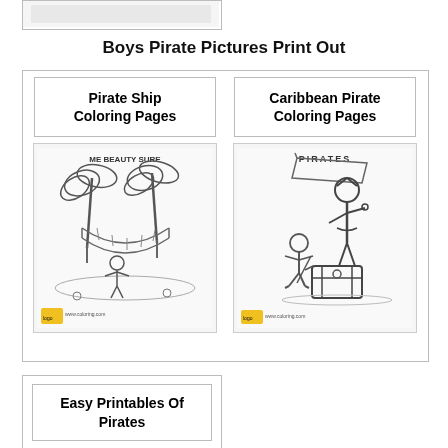[Figure (illustration): Top partial card with a coloring page image (cropped, partially visible)]
Boys Pirate Pictures Print Out
[Figure (illustration): Card containing 'Pirate Ship Coloring Pages' title box and a coloring page image of a pirate ship scene with palm trees labeled 'ME BEAUTY SURE']
[Figure (illustration): Card containing 'Caribbean Pirate Coloring Pages' title box and a coloring page image of two pirates with a treasure chest labeled 'PIRATES']
[Figure (illustration): Bottom card containing 'Easy Printables Of Pirates' title box]